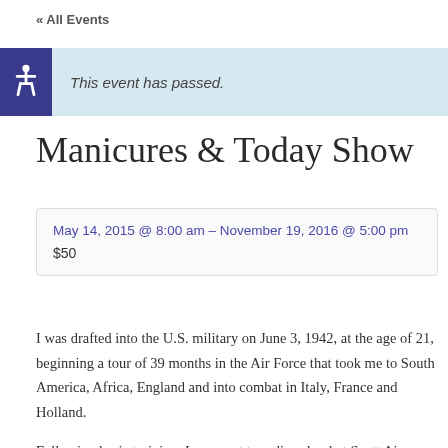« All Events
This event has passed.
Manicures & Today Show
May 14, 2015 @ 8:00 am - November 19, 2016 @ 5:00 pm
$50
I was drafted into the U.S. military on June 3, 1942, at the age of 21, beginning a tour of 39 months in the Air Force that took me to South America, Africa, England and into combat in Italy, France and Holland.
Following basic training, I was sent to radio school at Scott Air Force Base in Illinois, after which I was assigned to troop carrier command as the radio